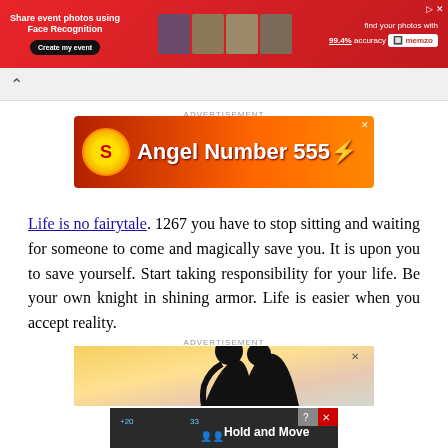[Figure (screenshot): Top banner ad for Memzo face recognition event photo sharing service with red background]
[Figure (screenshot): Browser navigation bar with back arrow]
ADVERTISEMENT
[Figure (screenshot): Angel Number 555 advertisement banner with orange/red fiery background and sun logo]
Life is no fairytale. 1267 you have to stop sitting and waiting for someone to come and magically save you. It is upon you to save yourself. Start taking responsibility for your life. Be your own knight in shining armor. Life is easier when you accept reality.
ADVERTISEMENT
[Figure (screenshot): Romance silhouette advertisement showing couple about to kiss]
[Figure (screenshot): Hold and Move mobile game advertisement with dark bar and score display]